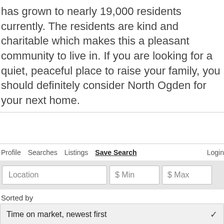has grown to nearly 19,000 residents currently. The residents are kind and charitable which makes this a pleasant community to live in. If you are looking for a quiet, peaceful place to raise your family, you should definitely consider North Ogden for your next home.
Profile   Searches   Listings   Save Search   Login
Location   $ Min   $ Max
Sorted by
Time on market, newest first
31 - 60 of 104 | Page 2 of 4
≡ List View   ⊙ Map View   ⊞ Grid View